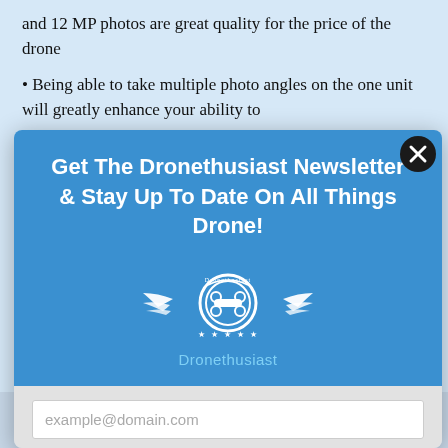and 12 MP photos are great quality for the price of the drone
Being able to take multiple photo angles on the one unit will greatly enhance your ability to
[Figure (screenshot): Newsletter subscription modal popup for Dronethusiast. Blue header with text 'Get The Dronethusiast Newsletter & Stay Up To Date On All Things Drone!', Dronethusiast logo (winged drone emblem), Subscribe link text in cyan, gray bottom section with email input field placeholder 'example@domain.com' and blue SUBSCRIBE button. Close button (X) in top right corner.]